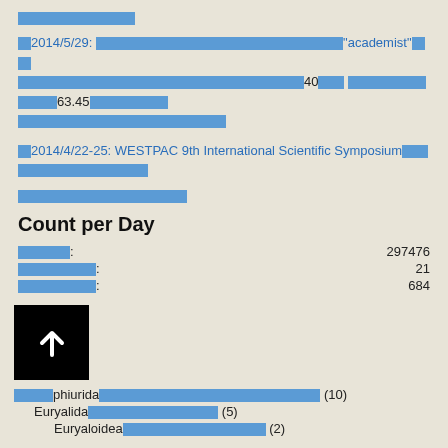■■■■■■■■■
■2014/5/29: ■■■■■■■■■■■■■■■■■■■■"academist"■■ ■■■■■■■■■■■■■■■■■■■40■■ ■■■■■■■■63.45■■■■■■ ■■■■■■■■■■■■■■■■
■2014/4/22-25: WESTPAC 9th International Scientific Symposium■■■■■■■■■■■■
■■■■■■■■■■
Count per Day
■■■■: 297476
■■■■■■: 21
■■■■■■: 684
phiurida■■■■■■■■■■■■■■■ (10)
Euryalida■■■■■■■■■■ (5)
Euryaloidea■■■■■■■■■■ (2)